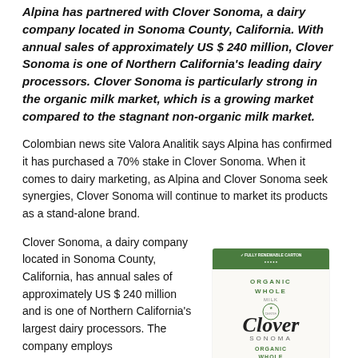Alpina has partnered with Clover Sonoma, a dairy company located in Sonoma County, California. With annual sales of approximately US $ 240 million, Clover Sonoma is one of Northern California's leading dairy processors. Clover Sonoma is particularly strong in the organic milk market, which is a growing market compared to the stagnant non-organic milk market.
Colombian news site Valora Analitik says Alpina has confirmed it has purchased a 70% stake in Clover Sonoma. When it comes to dairy marketing, as Alpina and Clover Sonoma seek synergies, Clover Sonoma will continue to market its products as a stand-alone brand.
Clover Sonoma, a dairy company located in Sonoma County, California, has annual sales of approximately US $ 240 million and is one of Northern California's largest dairy processors. The company employs
[Figure (photo): Clover Sonoma Organic Whole Milk carton with green top and CLOVER SONOMA branding, showing organic whole milk vitamin D label with farm and tree imagery]